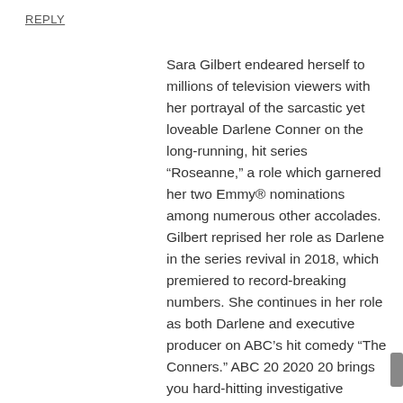REPLY
Sara Gilbert endeared herself to millions of television viewers with her portrayal of the sarcastic yet loveable Darlene Conner on the long-running, hit series “Roseanne,” a role which garnered her two Emmy® nominations among numerous other accolades. Gilbert reprised her role as Darlene in the series revival in 2018, which premiered to record-breaking numbers. She continues in her role as both Darlene and executive producer on ABC’s hit comedy “The Conners.” ABC 20 2020 20 brings you hard-hitting investigative reports, newsmaker interviews and compelling human interest and feature stories. PLEASE NOTE: The link below will take you out of the ABC ME website to ABC iview which contains content that is not suitable for children. If you are unsure whether to proceed, please check with your parent or